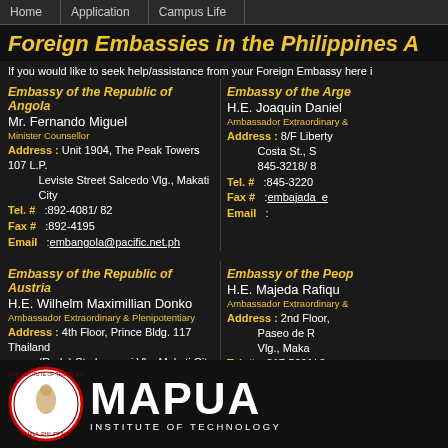Home | Application | Campus Life
Foreign Embassies in the Philippines A
If you would like to seek help/assistance from your Foreign Embassy here i
Embassy of the Republic of Angola
Mr. Fernando Miguel
Minister Counsellor
Address : Unit 1904, The Peak Towers 107 L.P. Leviste Street Salcedo Vlg., Makati City
Tel. # : 892-4081/ 82
Fax # : 892-4195
Email : embangola@pacific.net.ph
Embassy of the Arge
H.E. Joaquin Daniel
Ambassador Extraordinary &
Address : 8/F Liberty Costa St., S 845-3218/ 8
Tel. # : 845-3220
Fax # : embajada_e
Email :
Embassy of the Republic of Austria
H.E. Wilhelm Maximillian Donko
Ambassador Extraordinary & Plenipotentiary
Address : 4th Floor, Prince Bldg. 117 Thailand (Rada) St., Legaspi Vlg. Makati City
817-9191/ 817-4902/ 81-195
813-4 8
Embassy of the Peop
H.E. Majeda Rafiqu
Ambassador Extraordinary &
Address : 2nd Floor, Paseo de R Vlg., Maka
Tel. # : 817-5001/ 8
Fax # : 816-4941
Email : dutabash.ph
[Figure (logo): Mapua Institute of Technology logo with circular seal and text MAPUA INSTITUTE OF TECHNOLOGY]